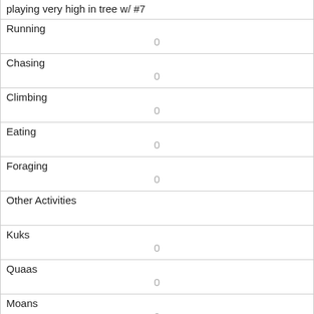| playing very high in tree w/ #7 |  |
| Running | 0 |
| Chasing | 0 |
| Climbing | 0 |
| Eating | 0 |
| Foraging | 0 |
| Other Activities |  |
| Kuks | 0 |
| Quaas | 0 |
| Moans | 0 |
| Tail flags | 0 |